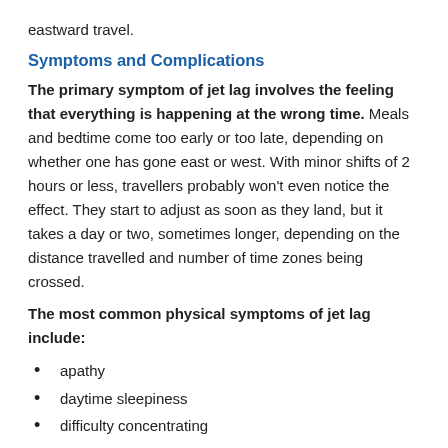eastward travel.
Symptoms and Complications
The primary symptom of jet lag involves the feeling that everything is happening at the wrong time. Meals and bedtime come too early or too late, depending on whether one has gone east or west. With minor shifts of 2 hours or less, travellers probably won't even notice the effect. They start to adjust as soon as they land, but it takes a day or two, sometimes longer, depending on the distance travelled and number of time zones being crossed.
The most common physical symptoms of jet lag include:
apathy
daytime sleepiness
difficulty concentrating
fatigue